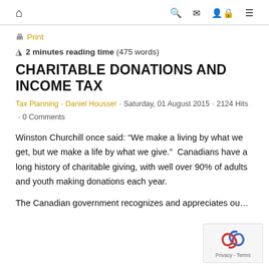Home | Search | Mail | Login | Menu
Print
2 minutes reading time (475 words)
CHARITABLE DONATIONS AND INCOME TAX
Tax Planning · Daniel Housser · Saturday, 01 August 2015 · 2124 Hits · 0 Comments
Winston Churchill once said: “We make a living by what we get, but we make a life by what we give.”  Canadians have a long history of charitable giving, with well over 90% of adults and youth making donations each year.
The Canadian government recognizes and appreciates ou...